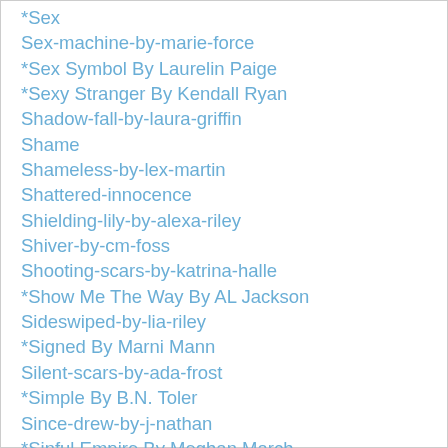*Sex
Sex-machine-by-marie-force
*Sex Symbol By Laurelin Paige
*Sexy Stranger By Kendall Ryan
Shadow-fall-by-laura-griffin
Shame
Shameless-by-lex-martin
Shattered-innocence
Shielding-lily-by-alexa-riley
Shiver-by-cm-foss
Shooting-scars-by-katrina-halle
*Show Me The Way By AL Jackson
Sideswiped-by-lia-riley
*Signed By Marni Mann
Silent-scars-by-ada-frost
*Simple By B.N. Toler
Since-drew-by-j-nathan
*Sinful Empire By Meghan March
*Sinner By Sierra Simone
Sin-never-sleeps-by-geneva-lee
Sins-of-sevin-by-penelope-ward
Six-month-rule-by-aj-pine